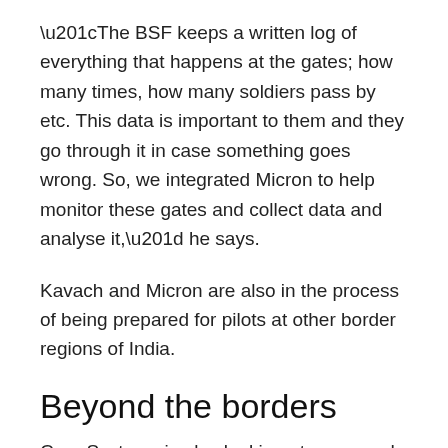“The BSF keeps a written log of everything that happens at the gates; how many times, how many soldiers pass by etc. This data is important to them and they go through it in case something goes wrong. So, we integrated Micron to help monitor these gates and collect data and analyse it,” he says.
Kavach and Micron are also in the process of being prepared for pilots at other border regions of India.
Beyond the borders
Cron Systems is also looking at areas and markets beyond the borders. “We are doing a